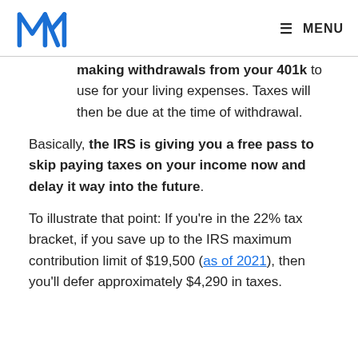M logo | MENU
making withdrawals from your 401k to use for your living expenses. Taxes will then be due at the time of withdrawal.
Basically, the IRS is giving you a free pass to skip paying taxes on your income now and delay it way into the future.
To illustrate that point: If you're in the 22% tax bracket, if you save up to the IRS maximum contribution limit of $19,500 (as of 2021), then you'll defer approximately $4,290 in taxes.